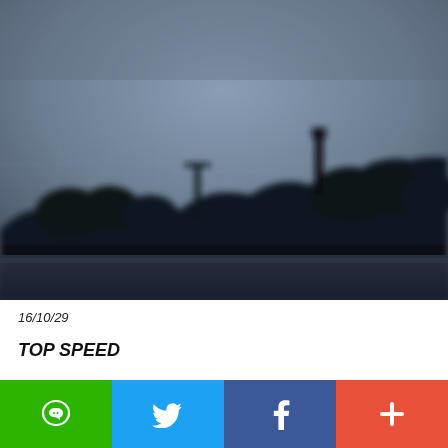[Figure (photo): Blurry dusk/twilight photo of a dark silhouetted treeline and industrial structures (possibly towers or cranes) against a gray-blue sky, with dark water or road in the foreground.]
16/10/29
TOP SPEED
[Figure (infographic): Social sharing bar with four buttons: LINE (green), Twitter (blue), Facebook (dark blue), and a '+' more button (orange-red).]